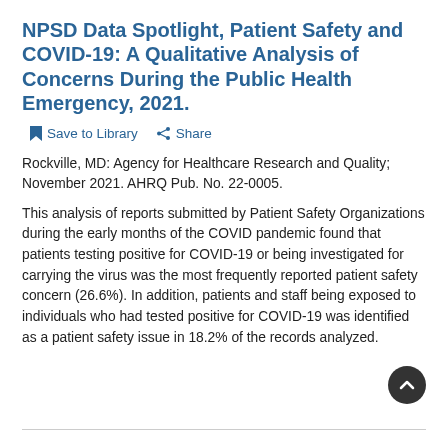NPSD Data Spotlight, Patient Safety and COVID-19: A Qualitative Analysis of Concerns During the Public Health Emergency, 2021.
Save to Library   Share
Rockville, MD: Agency for Healthcare Research and Quality; November 2021. AHRQ Pub. No. 22-0005.
This analysis of reports submitted by Patient Safety Organizations during the early months of the COVID pandemic found that patients testing positive for COVID-19 or being investigated for carrying the virus was the most frequently reported patient safety concern (26.6%). In addition, patients and staff being exposed to individuals who had tested positive for COVID-19 was identified as a patient safety issue in 18.2% of the records analyzed.